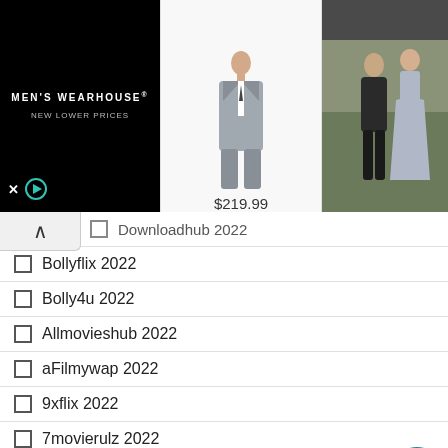[Figure (photo): Men's Wearhouse advertisement banner showing a gray suit at $219.99 price in the center, a couple in formal wedding attire on the right, and the brand logo on a black background on the left.]
☐ Downloadhub 2022
☐ Bollyflix 2022
☐ Bolly4u 2022
☐ Allmovieshub 2022
☐ aFilmywap 2022
☐ 9xflix 2022
☐ 7movierulz 2022
☐ 7StarHD 2022
☐ 7hitmovies 2022